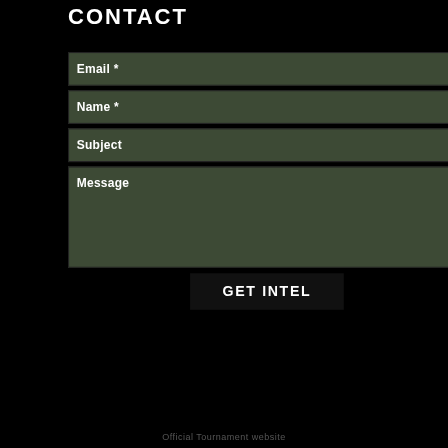CONTACT
Email *
Name *
Subject
Message
GET INTEL
Official Tournament website